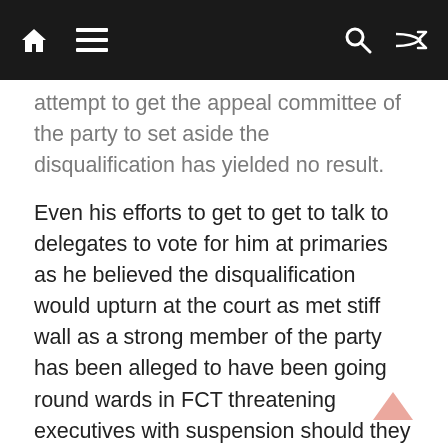[Navigation bar with home, menu, search, and shuffle icons]
attempt to get the appeal committee of the party to set aside the disqualification has yielded no result.
Even his efforts to get to get to talk to delegates to vote for him at primaries as he believed the disqualification would upturn at the court as met stiff wall as a strong member of the party has been alleged to have been going round wards in FCT threatening executives with suspension should they be seen with him.
Spokesman for the protesters, Mr. Henry Edward, told journalists at the PDP headquarters that the said a Senatorial aspirant (name withheld), was trying to muscle everyone else out of the race by denying them access to delegates.